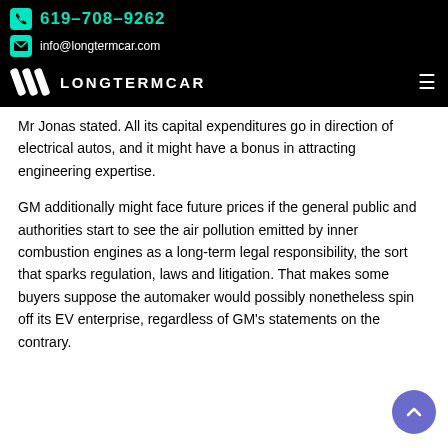619-708-9262 | info@longtermcar.com | LONGTERMCAR
Mr Jonas stated. All its capital expenditures go in direction of electrical autos, and it might have a bonus in attracting engineering expertise.
GM additionally might face future prices if the general public and authorities start to see the air pollution emitted by inner combustion engines as a long-term legal responsibility, the sort that sparks regulation, laws and litigation. That makes some buyers suppose the automaker would possibly nonetheless spin off its EV enterprise, regardless of GM’s statements on the contrary.